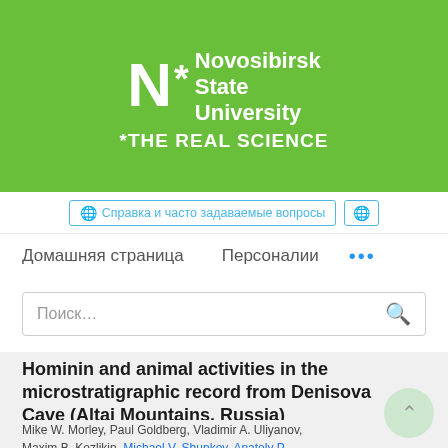[Figure (logo): Novosibirsk State University logo on green background with text '*THE REAL SCIENCE']
🌐 Справка и часто задаваемые вопросы
Домашняя страница   Персоналии   ...
Поиск…
Hominin and animal activities in the microstratigraphic record from Denisova Cave (Altai Mountains, Russia)
Mike W. Morley, Paul Goldberg, Vladimir A. Uliyanov, Maxim B. Kozlikin, Michael V. Shunkov, Anatoly P.